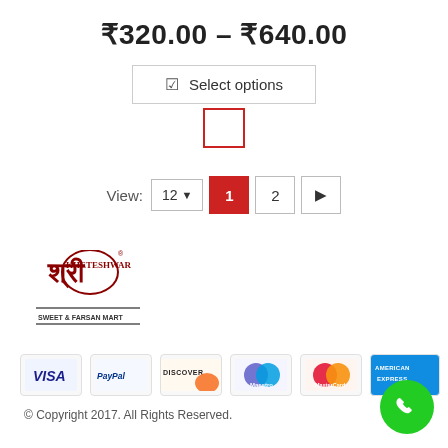₹320.00 – ₹640.00
Select options
View: 12  1  2  ▶
[Figure (logo): Shri Kheteshwar Sweet & Farsan Mart logo]
[Figure (infographic): Payment method icons: VISA, PayPal, DISCOVER, Maestro, MasterCard, American Express]
© Copyright 2017. All Rights Reserved.